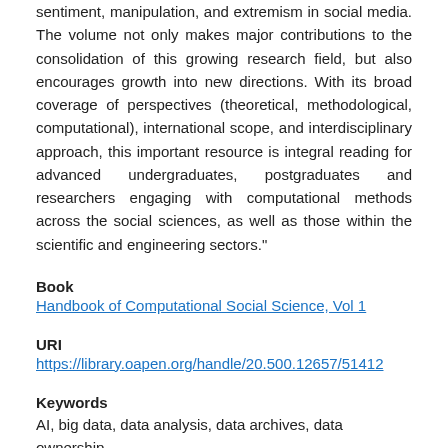sentiment, manipulation, and extremism in social media. The volume not only makes major contributions to the consolidation of this growing research field, but also encourages growth into new directions. With its broad coverage of perspectives (theoretical, methodological, computational), international scope, and interdisciplinary approach, this important resource is integral reading for advanced undergraduates, postgraduates and researchers engaging with computational methods across the social sciences, as well as those within the scientific and engineering sectors."
Book
Handbook of Computational Social Science, Vol 1
URI
https://library.oapen.org/handle/20.500.12657/51412
Keywords
AI, big data, data analysis, data archives, data ownership,